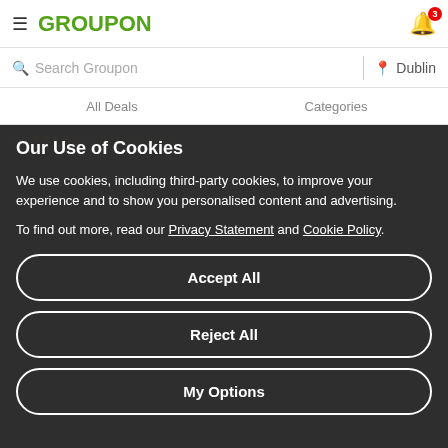GROUPON — Search Groupon — Dublin — All Deals — Categories
4.3 ★★★★☆ 6 Groupon Ratings
Our Use of Cookies
We use cookies, including third-party cookies, to improve your experience and to show you personalised content and advertising.
To find out more, read our Privacy Statement and Cookie Policy.
Superior Double or Twin Room for Two with Half Board
Sold Out
Accept All
Reject All
See Similar Deals
My Options